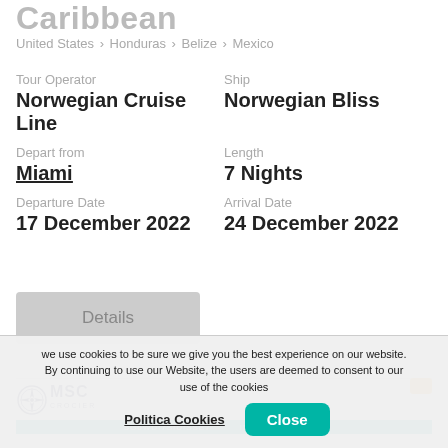Caribbean
United States > Honduras > Belize > Mexico
Tour Operator: Norwegian Cruise Line | Ship: Norwegian Bliss
Depart from: Miami | Length: 7 Nights
Departure Date: 17 December 2022 | Arrival Date: 24 December 2022
Details
[Figure (logo): MSC Crociere logo with compass rose icon]
we use cookies to be sure we give you the best experience on our website. By continuing to use our Website, the users are deemed to consent to our use of the cookies
Politica Cookies | Close